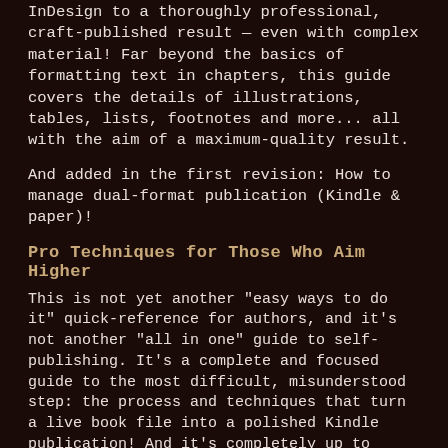InDesign to a thoroughly professional, craft-published result — even with complex material! Far beyond the basics of formatting text in chapters, this guide covers the details of illustrations, tables, lists, footnotes and more... all with the aim of a maximum-quality result.
And added in the first revision: How to manage dual-format publication (Kindle & paper)!
Pro Techniques for Those Who Aim Higher
This is not yet another "easy ways to do it" quick-reference for authors, and it's not another "all in one" guide to self-publishing. It's a complete and focused guide to the most difficult, misunderstood step: the process and techniques that turn a live book file into a polished Kindle publication! And it's completely up to date, freshly written by an experienced publication designer, veteran publisher and award-nominated writer.
Technical Background Required:
While this guide is aimed at all serious Kindle